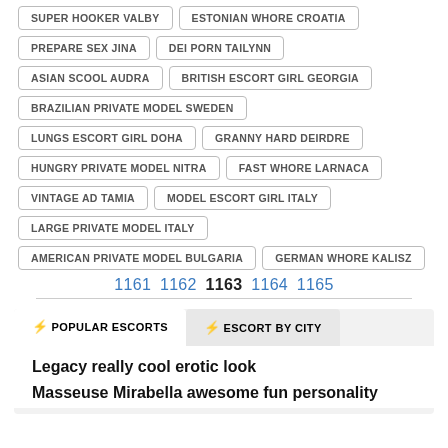SUPER HOOKER VALBY
ESTONIAN WHORE CROATIA
PREPARE SEX JINA
DEI PORN TAILYNN
ASIAN SCOOL AUDRA
BRITISH ESCORT GIRL GEORGIA
BRAZILIAN PRIVATE MODEL SWEDEN
LUNGS ESCORT GIRL DOHA
GRANNY HARD DEIRDRE
HUNGRY PRIVATE MODEL NITRA
FAST WHORE LARNACA
VINTAGE AD TAMIA
MODEL ESCORT GIRL ITALY
LARGE PRIVATE MODEL ITALY
AMERICAN PRIVATE MODEL BULGARIA
GERMAN WHORE KALISZ
1161 1162 1163 1164 1165
⚡POPULAR ESCORTS ⚡ESCORT BY CITY
Legacy really cool erotic look
Masseuse Mirabella awesome fun personality